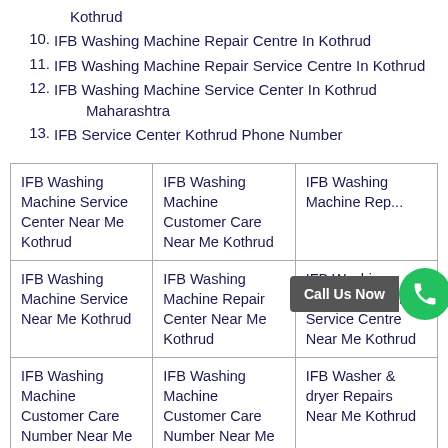Kothrud
10. IFB Washing Machine Repair Centre In Kothrud
11. IFB Washing Machine Repair Service Centre In Kothrud
12. IFB Washing Machine Service Center In Kothrud Maharashtra
13. IFB Service Center Kothrud Phone Number
| IFB Washing Machine Service Center Near Me Kothrud | IFB Washing Machine Customer Care Near Me Kothrud | IFB Washing Machine Rep... Ko... |
| IFB Washing Machine Service Near Me Kothrud | IFB Washing Machine Repair Center Near Me Kothrud | IFB Washing Machine Repair Service Centre Near Me Kothrud |
| IFB Washing Machine Customer Care Number Near Me | IFB Washing Machine Customer Care Number Near Me | IFB Washer & dryer Repairs Near Me Kothrud |